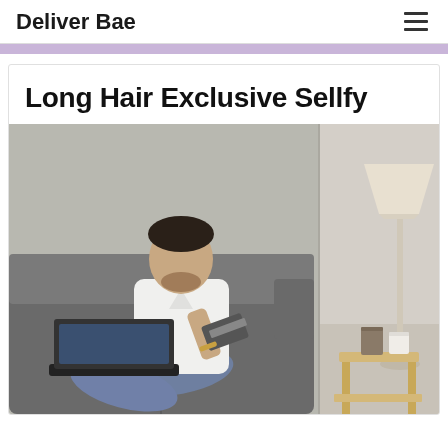Deliver Bae
Long Hair Exclusive Sellfy
[Figure (photo): A man sitting cross-legged on a grey sofa, wearing a white t-shirt and jeans, holding a credit card in one hand and using a laptop with his other hand. To the right side of the image is a room with a floor lamp and a small wooden side table with two candles on it.]